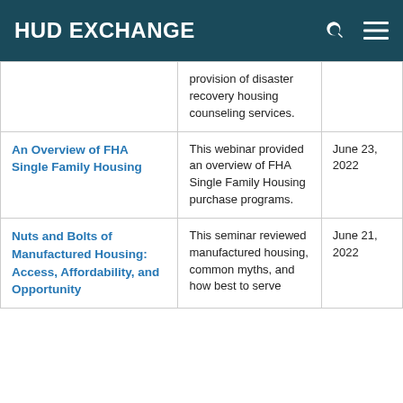HUD EXCHANGE
| Title | Description | Date |
| --- | --- | --- |
|  | provision of disaster recovery housing counseling services. |  |
| An Overview of FHA Single Family Housing | This webinar provided an overview of FHA Single Family Housing purchase programs. | June 23, 2022 |
| Nuts and Bolts of Manufactured Housing: Access, Affordability, and Opportunity | This seminar reviewed manufactured housing, common myths, and how best to serve... | June 21, 2022 |